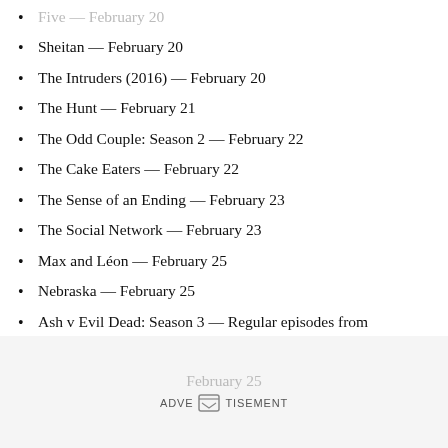Five — February 20
Sheitan — February 20
The Intruders (2016) — February 20
The Hunt — February 21
The Odd Couple: Season 2 — February 22
The Cake Eaters — February 22
The Sense of an Ending — February 23
The Social Network — February 23
Max and Léon — February 25
Nebraska — February 25
Ash v Evil Dead: Season 3 — Regular episodes from February 25